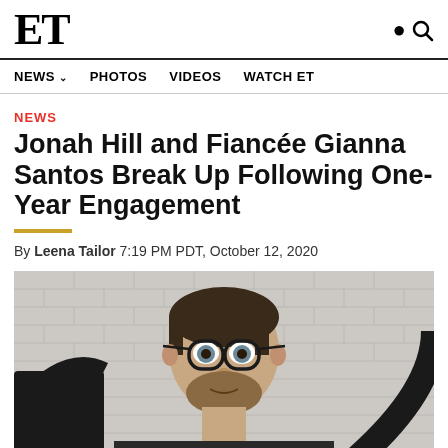ET
NEWS  PHOTOS  VIDEOS  WATCH ET
NEWS
Jonah Hill and Fiancée Gianna Santos Break Up Following One-Year Engagement
By Leena Tailor 7:19 PM PDT, October 12, 2020
[Figure (photo): Photo of Jonah Hill wearing round dark-framed glasses and a dark shirt, with a beard, standing in front of a white brick wall with dark graphic elements]